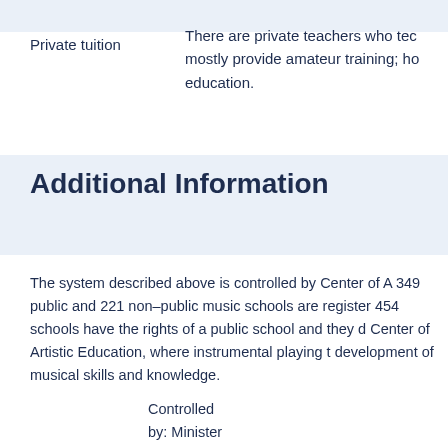Private tuition
There are private teachers who teach mostly provide amateur training; however, education.
Additional Information
The system described above is controlled by Center of A 349 public and 221 non-public music schools are register 454 schools have the rights of a public school and they Center of Artistic Education, where instrumental playing development of musical skills and knowledge.
Controlled by: Minister